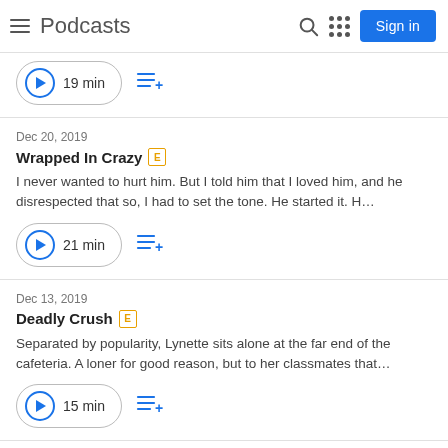Podcasts
19 min
Dec 20, 2019
Wrapped In Crazy
I never wanted to hurt him. But I told him that I loved him, and he disrespected that so, I had to set the tone. He started it. H…
21 min
Dec 13, 2019
Deadly Crush
Separated by popularity, Lynette sits alone at the far end of the cafeteria. A loner for good reason, but to her classmates that…
15 min